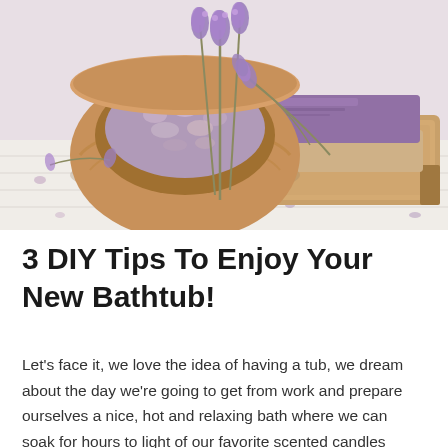[Figure (photo): A wooden bowl filled with purple bath salts and dried lavender flowers, alongside stacked bars of soap (one purple on top) on a wooden tray, with lavender sprigs scattered on a white wooden surface]
3 DIY Tips To Enjoy Your New Bathtub!
Let's face it, we love the idea of having a tub, we dream about the day we're going to get from work and prepare ourselves a nice, hot and relaxing bath where we can soak for hours to light of our favorite scented candles